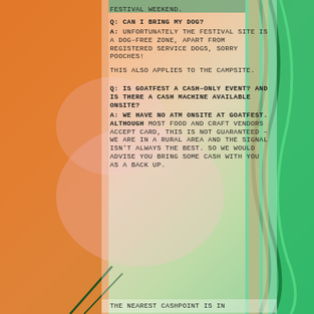FESTIVAL WEEKEND.
Q: CAN I BRING MY DOG?
A: UNFORTUNATELY THE FESTIVAL SITE IS A DOG-FREE ZONE, APART FROM REGISTERED SERVICE DOGS, SORRY POOCHES!
THIS ALSO APPLIES TO THE CAMPSITE.
Q: IS GOATFEST A CASH-ONLY EVENT? AND IS THERE A CASH MACHINE AVAILABLE ONSITE?
A: WE HAVE NO ATM ONSITE AT GOATFEST. ALTHOUGH MOST FOOD AND CRAFT VENDORS ACCEPT CARD, THIS IS NOT GUARANTEED – WE ARE IN A RURAL AREA AND THE SIGNAL ISN'T ALWAYS THE BEST. SO WE WOULD ADVISE YOU BRING SOME CASH WITH YOU AS A BACK UP.
THE NEAREST CASHPOINT IS IN